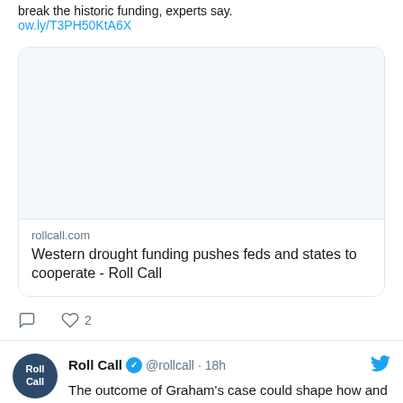ow.ly/T3PH50KtA6X
[Figure (screenshot): Link preview card showing rollcall.com article titled 'Western drought funding pushes feds and states to cooperate - Roll Call' with a blank image placeholder area]
comment icon and heart icon with 2 likes
Roll Call @rollcall · 18h — The outcome of Graham's case could shape how and when members of Congress go into the courts to try to enforce the Speech or Debate Clause. ow.ly/fwP350KtA1A